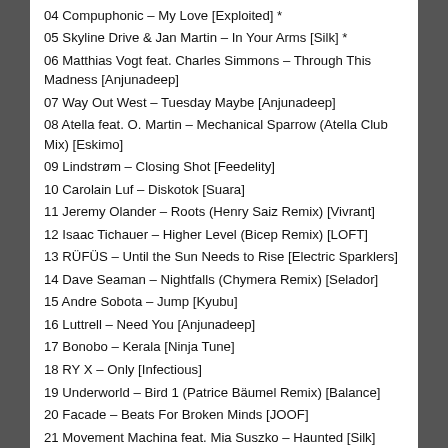04 Compuphonic – My Love [Exploited] *
05 Skyline Drive & Jan Martin – In Your Arms [Silk] *
06 Matthias Vogt feat. Charles Simmons – Through This Madness [Anjunadeep]
07 Way Out West – Tuesday Maybe [Anjunadeep]
08 Atella feat. O. Martin – Mechanical Sparrow (Atella Club Mix) [Eskimo]
09 Lindstrøm – Closing Shot [Feedelity]
10 Carolain Luf – Diskotok [Suara]
11 Jeremy Olander – Roots (Henry Saiz Remix) [Vivrant]
12 Isaac Tichauer – Higher Level (Bicep Remix) [LOFT]
13 RÜFÜS – Until the Sun Needs to Rise [Electric Sparklers]
14 Dave Seaman – Nightfalls (Chymera Remix) [Selador]
15 Andre Sobota – Jump [Kyubu]
16 Luttrell – Need You [Anjunadeep]
17 Bonobo – Kerala [Ninja Tune]
18 RY X – Only [Infectious]
19 Underworld – Bird 1 (Patrice Bäumel Remix) [Balance]
20 Facade – Beats For Broken Minds [JOOF]
21 Movement Machina feat. Mia Suszko – Haunted [Silk]
22 Boom Jinx & Soundprank feat. Katrine Stenbekk – We Know (Vintage & Morelli Remix) [Anjunabeats]